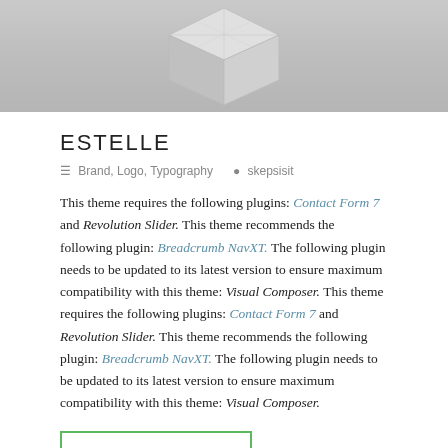[Figure (photo): Partial view of a metallic geometric cube/box object on a light grey background, cropped at the top of the page.]
ESTELLE
☰ Brand, Logo, Typography   ⬧ skepsisit
This theme requires the following plugins: Contact Form 7 and Revolution Slider. This theme recommends the following plugin: Breadcrumb NavXT. The following plugin needs to be updated to its latest version to ensure maximum compatibility with this theme: Visual Composer. This theme requires the following plugins: Contact Form 7 and Revolution Slider. This theme recommends the following plugin: Breadcrumb NavXT. The following plugin needs to be updated to its latest version to ensure maximum compatibility with this theme: Visual Composer.
READ MORE